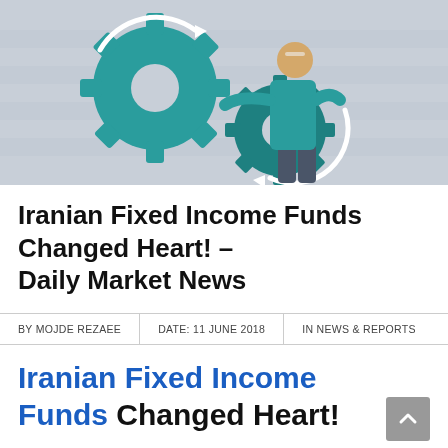[Figure (illustration): Illustration of a person in teal clothing adjusting or spinning two large teal interlocking gears with white circular arrows indicating rotation, on a light grey striped background.]
Iranian Fixed Income Funds Changed Heart! – Daily Market News
BY MOJDE REZAEE | DATE: 11 JUNE 2018 | IN NEWS & REPORTS
Iranian Fixed Income Funds Changed Heart!